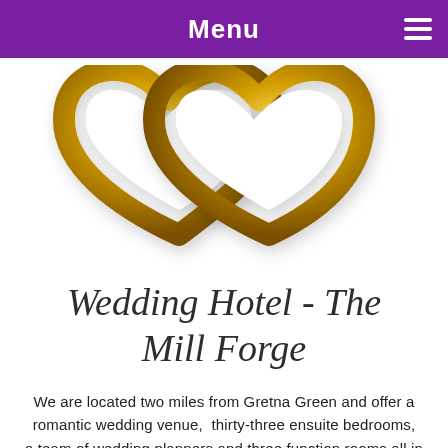Menu
[Figure (illustration): Two interlocking golden heart-shaped rings, overlapping in the center, on a white background — a wedding/romance symbol.]
Wedding Hotel - The Mill Forge
We are located two miles from Gretna Green and offer a romantic wedding venue, thirty-three ensuite bedrooms, a team of wedding planners and three function rooms all in one